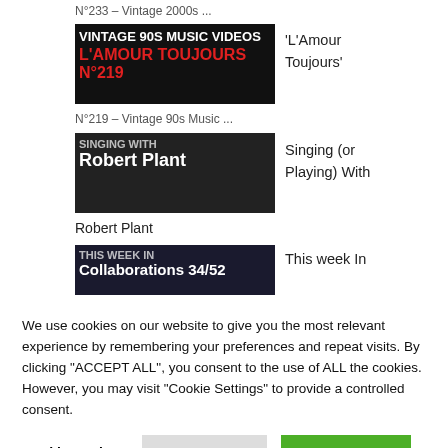N°233 – Vintage 2000s ...
[Figure (screenshot): Thumbnail image with text 'VINTAGE 90S MUSIC VIDEOS' and 'L'Amour Toujours N°219' in red]
'L'Amour Toujours'
N°219 – Vintage 90s Music ...
[Figure (screenshot): Thumbnail image with text 'SINGING WITH' and 'Robert Plant' in white bold text]
Singing (or Playing) With
Robert Plant
[Figure (screenshot): Thumbnail image with text 'THIS WEEK IN' and 'Collaborations 34/52']
This week In
We use cookies on our website to give you the most relevant experience by remembering your preferences and repeat visits. By clicking "ACCEPT ALL", you consent to the use of ALL the cookies. However, you may visit "Cookie Settings" to provide a controlled consent.
Cookie Settings
REJECT ALL
ACCEPT ALL